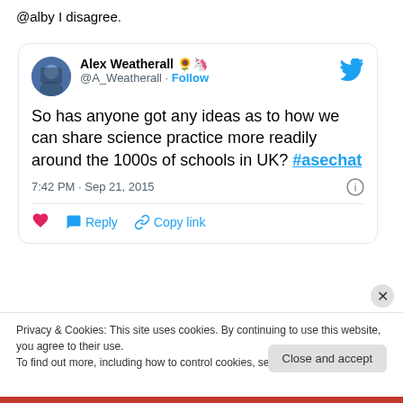@alby I disagree.
[Figure (screenshot): Embedded tweet from Alex Weatherall (@A_Weatherall) reading: 'So has anyone got any ideas as to how we can share science practice more readily around the 1000s of schools in UK? #asechat' posted at 7:42 PM · Sep 21, 2015]
Privacy & Cookies: This site uses cookies. By continuing to use this website, you agree to their use. To find out more, including how to control cookies, see here: Cookie Policy